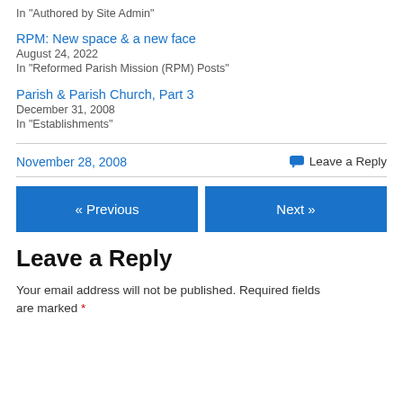In "Authored by Site Admin"
RPM: New space & a new face
August 24, 2022
In "Reformed Parish Mission (RPM) Posts"
Parish & Parish Church, Part 3
December 31, 2008
In "Establishments"
November 28, 2008   Leave a Reply
« Previous   Next »
Leave a Reply
Your email address will not be published. Required fields are marked *